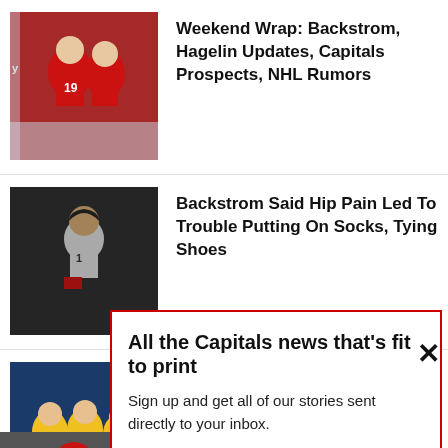[Figure (photo): Two hockey players in red Washington Capitals jerseys on ice]
Weekend Wrap: Backstrom, Hagelin Updates, Capitals Prospects, NHL Rumors
[Figure (photo): Hockey player in white USA jersey, dark background]
Backstrom Said Hip Pain Led To Trouble Putting On Socks, Tying Shoes
[Figure (photo): Swedish hockey players in yellow jerseys celebrating]
Capitals Prospect Magnusson, Sweden Win Bronze At World Juniors
[Figure (photo): Hockey player in red jersey, partial view]
[Figure (photo): Hockey player in red Capitals jersey, partial view]
All the Capitals news that's fit to print
Sign up and get all of our stories sent directly to your inbox.
Enter your email here
SIGN UP!
We respect your privacy and take protecting it seriously